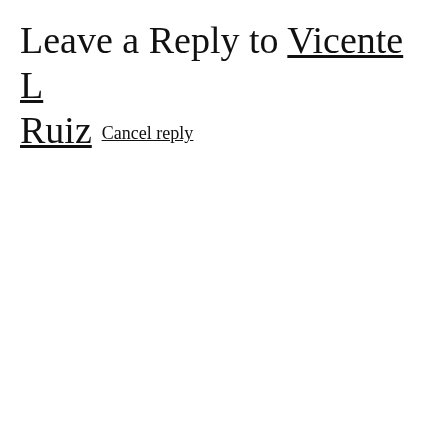Leave a Reply to Vicente L Ruiz  Cancel reply